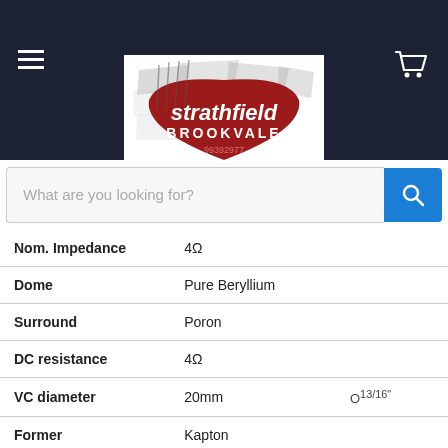[Figure (logo): Strathfield Brookvale logo with phone number 99392977 on dark navy header bar with hamburger menu and shopping cart icon]
What are you looking for?
| Property | Value | Alt |
| --- | --- | --- |
| Nom. Impedance | 4Ω |  |
| Dome | Pure Beryllium |  |
| Surround | Poron |  |
| DC resistance | 4Ω |  |
| VC diameter | 20mm | O¹³/¹⁶" |
| Former | Kapton |  |
| Layers | 2 |  |
| Wire | Alu |  |
| Net weight | 150g | 0.1lbs |